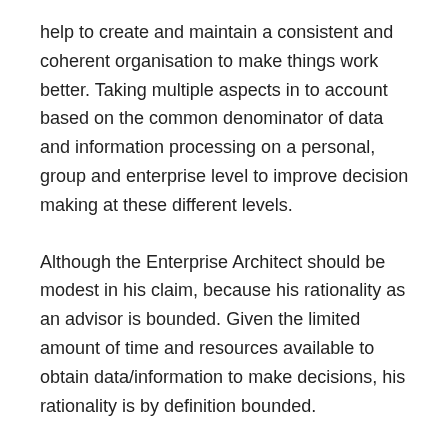help to create and maintain a consistent and coherent organisation to make things work better. Taking multiple aspects in to account based on the common denominator of data and information processing on a personal, group and enterprise level to improve decision making at these different levels.
Although the Enterprise Architect should be modest in his claim, because his rationality as an advisor is bounded. Given the limited amount of time and resources available to obtain data/information to make decisions, his rationality is by definition bounded.
Every Business is just a business, making